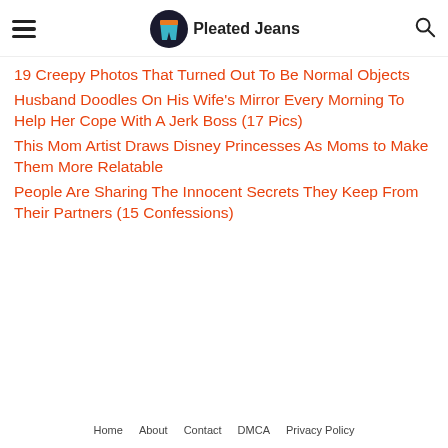Pleated Jeans
19 Creepy Photos That Turned Out To Be Normal Objects
Husband Doodles On His Wife's Mirror Every Morning To Help Her Cope With A Jerk Boss (17 Pics)
This Mom Artist Draws Disney Princesses As Moms to Make Them More Relatable
People Are Sharing The Innocent Secrets They Keep From Their Partners (15 Confessions)
Home   About   Contact   DMCA   Privacy Policy